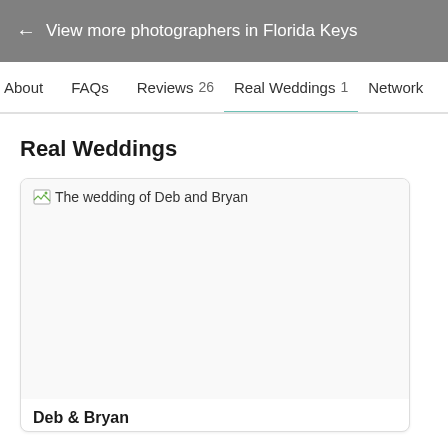← View more photographers in Florida Keys
About  FAQs  Reviews 26  Real Weddings 1  Network
Real Weddings
[Figure (photo): Wedding card showing broken image placeholder with alt text 'The wedding of Deb and Bryan', and name 'Deb & Bryan' below]
Deb & Bryan